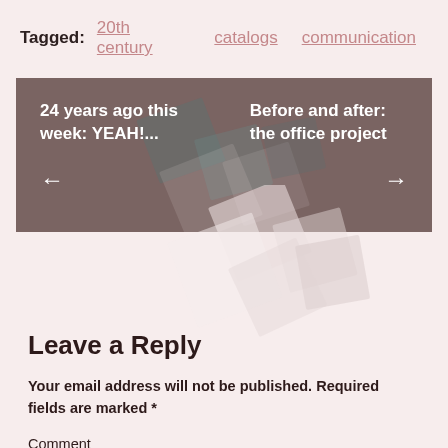Tagged: 20th century   catalogs   communication
[Figure (other): Navigation box with dark brownish-gray background showing two post navigation links: left arrow with '24 years ago this week: YEAH!...' and right arrow with 'Before and after: the office project'. Decorative overlapping rotated squares in the background.]
Leave a Reply
Your email address will not be published. Required fields are marked *
Comment